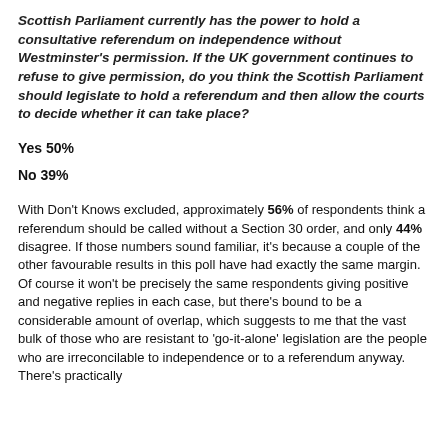Scottish Parliament currently has the power to hold a consultative referendum on independence without Westminster's permission. If the UK government continues to refuse to give permission, do you think the Scottish Parliament should legislate to hold a referendum and then allow the courts to decide whether it can take place?
Yes 50%
No 39%
With Don't Knows excluded, approximately 56% of respondents think a referendum should be called without a Section 30 order, and only 44% disagree. If those numbers sound familiar, it's because a couple of the other favourable results in this poll have had exactly the same margin. Of course it won't be precisely the same respondents giving positive and negative replies in each case, but there's bound to be a considerable amount of overlap, which suggests to me that the vast bulk of those who are resistant to 'go-it-alone' legislation are the people who are irreconcilable to independence or to a referendum anyway. There's practically